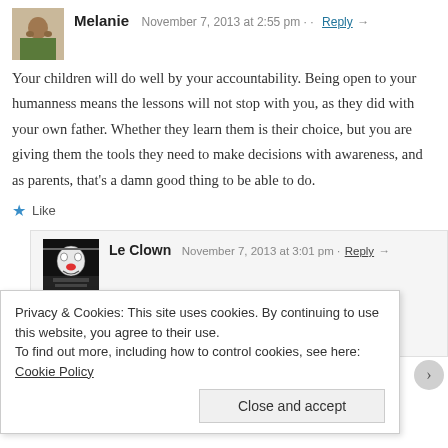Melanie  November 7, 2013 at 2:55 pm · Reply →
Your children will do well by your accountability. Being open to your humanness means the lessons will not stop with you, as they did with your own father. Whether they learn them is their choice, but you are giving them the tools they need to make decisions with awareness, and as parents, that's a damn good thing to be able to do.
★ Like
Le Clown  November 7, 2013 at 3:01 pm · Reply →
Melanie,
Your comment as the epilogue. Quite simply.
Privacy & Cookies: This site uses cookies. By continuing to use this website, you agree to their use.
To find out more, including how to control cookies, see here: Cookie Policy
Close and accept